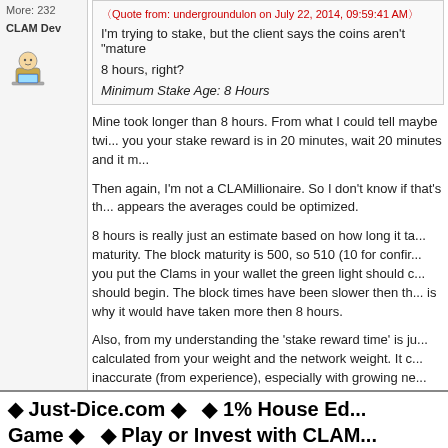More: 232
CLAM Dev
[Figure (illustration): Forum user avatar icon showing a person at a computer]
I'm trying to stake, but the client says the coins aren't "mature"... 8 hours, right?
Minimum Stake Age: 8 Hours
Mine took longer than 8 hours. From what I could tell maybe twice as long... you your stake reward is in 20 minutes, wait 20 minutes and it m...
Then again, I'm not a CLAMillionaire. So I don't know if that's th... appears the averages could be optimized.
8 hours is really just an estimate based on how long it ta... maturity. The block maturity is 500, so 510 (10 for confir... you put the Clams in your wallet the green light should c... should begin. The block times have been slower then th... is why it would have taken more then 8 hours.
Also, from my understanding the 'stake reward time' is j... calculated from your weight and the network weight. It c... inaccurate (from experience), especially with growing ne...
♦ Just-Dice.com ♦ ♦ 1% House Ed... Game ♦ ♦ Play or Invest with CLAM...